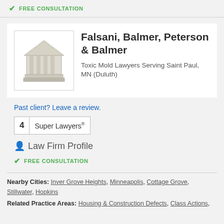✓ FREE CONSULTATION
[Figure (illustration): Courthouse/law firm icon — a simplified building with columns and a triangular pediment, in light gray/beige tones]
Falsani, Balmer, Peterson & Balmer
Toxic Mold Lawyers Serving Saint Paul, MN (Duluth)
Past client? Leave a review.
4  Super Lawyers®
Law Firm Profile
✓ FREE CONSULTATION
Nearby Cities: Inver Grove Heights, Minneapolis, Cottage Grove, Stillwater, Hopkins
Related Practice Areas: Housing & Construction Defects, Class Actions,